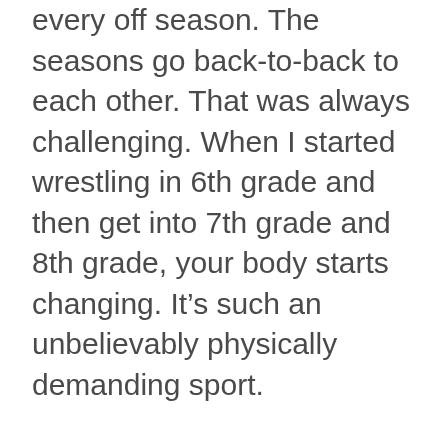every off season. The seasons go back-to-back to each other. That was always challenging. When I started wrestling in 6th grade and then get into 7th grade and 8th grade, your body starts changing. It’s such an unbelievably physically demanding sport.